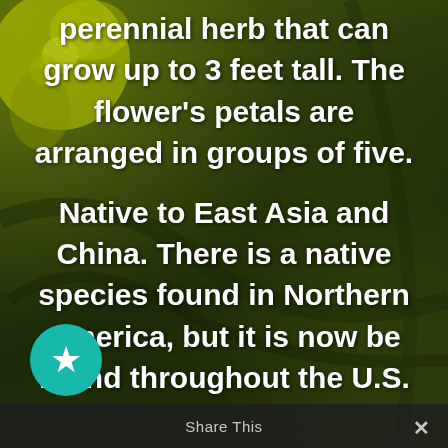[Figure (photo): Background photo of yellow-green flowers and dark green foliage, with text overlay]
perennial herb that can grow up to 3 feet tall. The flower's petals are arranged in groups of five.
Native to East Asia and China. There is a native species found in Northern America, but it is now be found throughout the U.S.
Share This ✕